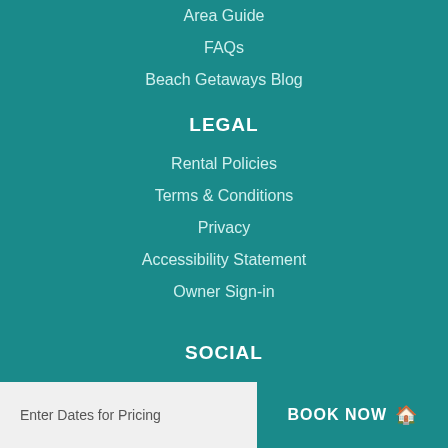Area Guide
FAQs
Beach Getaways Blog
LEGAL
Rental Policies
Terms & Conditions
Privacy
Accessibility Statement
Owner Sign-in
SOCIAL
Enter Dates for Pricing
BOOK NOW